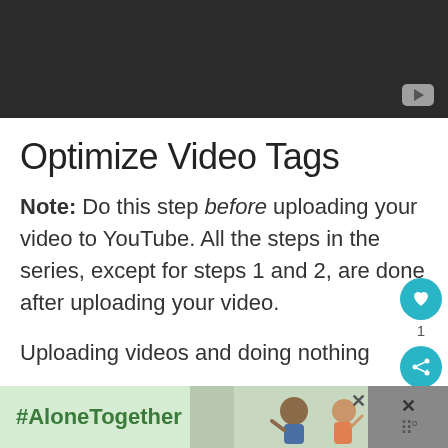[Figure (screenshot): Dark video thumbnail with YouTube play button in bottom-right corner]
Optimize Video Tags
Note: Do this step before uploading your video to YouTube. All the steps in the series, except for steps 1 and 2, are done after uploading your video.
Uploading videos and doing nothing
[Figure (infographic): #AloneTogether advertisement banner with photo of people waving]